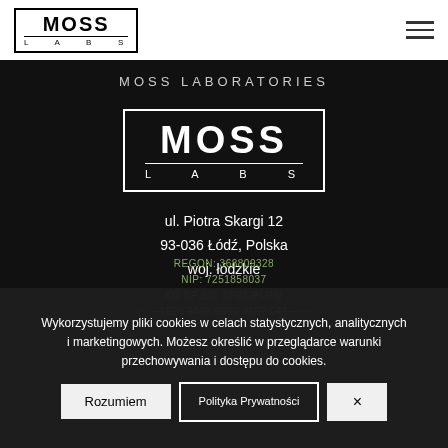[Figure (logo): MOSS LABS logo in top navigation bar, black text on white background with border box]
MOSS LABORATORIES
[Figure (logo): MOSS LABS logo centered on dark background, white text with white border box]
ul. Piotra Skargi 12
93-036 Łódź, Polska
woj. łódzkie
-- ——————————--
REGON: 368809328
NIP: 7251858037
KO BP BIC BPKOPLPW
1020 3408 0000 4102 041
Wykorzystujemy pliki cookies w celach statystycznych, analitycznych i marketingowych. Możesz określić w przeglądarce warunki przechowywania i dostępu do cookies.
Rozumiem
Polityka Prywatności
×